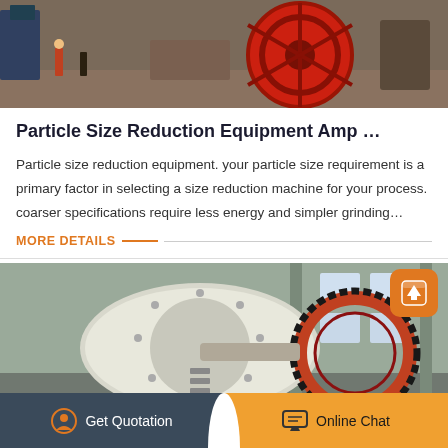[Figure (photo): Industrial machinery installation scene with workers and large red/orange wheel gear equipment outdoors]
Particle Size Reduction Equipment Amp …
Particle size reduction equipment. your particle size requirement is a primary factor in selecting a size reduction machine for your process. coarser specifications require less energy and simpler grinding…
MORE DETAILS
[Figure (photo): Large industrial grinding mill machinery with white drum and gear ring inside a factory/warehouse building]
Get Quotation
Online Chat